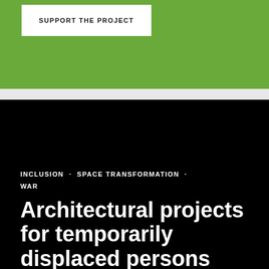SUPPORT THE PROJECT
INCLUSION · SPACE TRANSFORMATION · WAR
Architectural projects for temporarily displaced persons